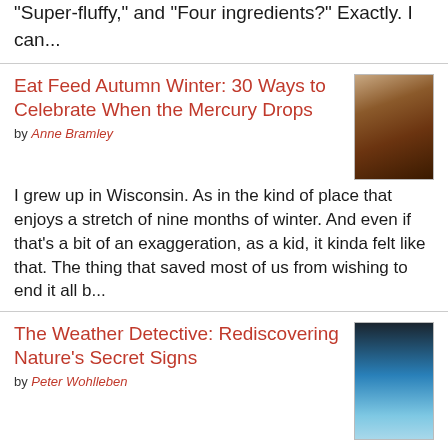"Super-fluffy," and "Four ingredients?" Exactly. I can...
Eat Feed Autumn Winter: 30 Ways to Celebrate When the Mercury Drops
by Anne Bramley
[Figure (photo): Book cover of Eat Feed Autumn Winter]
I grew up in Wisconsin. As in the kind of place that enjoys a stretch of nine months of winter. And even if that's a bit of an exaggeration, as a kid, it kinda felt like that. The thing that saved most of us from wishing to end it all b...
The Weather Detective: Rediscovering Nature's Secret Signs
by Peter Wohlleben
[Figure (photo): Book cover of The Weather Detective]
I am a massive fan of The Farmer's Almanac and have been as early as I can recall, as growing up in Wisconsin, you're guaranteed to hear most every farmer bark out his opinion on exactly how the year is going to unfold due to...